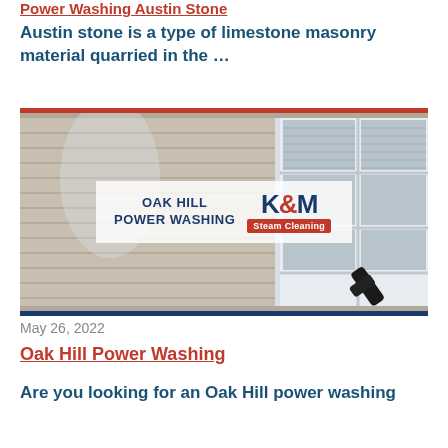Power Washing Austin Stone
Austin stone is a type of limestone masonry material quarried in the …
[Figure (photo): Power washing / steam cleaning service photo showing siding being cleaned, with Oak Hill Power Washing and K&M Steam Cleaning logo overlay.]
May 26, 2022
Oak Hill Power Washing
Are you looking for an Oak Hill power washing